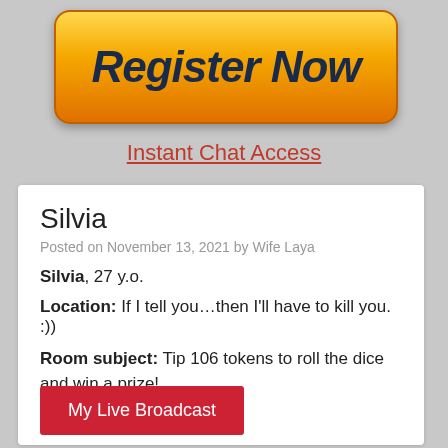[Figure (illustration): Gold gradient 'Register Now' button with bold italic dark blue text on orange-yellow gradient background with rounded corners]
Instant Chat Access
Silvia
Posted on November 13, 2021 by Wife Laya
Silvia, 27 y.o.
Location: If I tell you...then I'll have to kill you. :))
Room subject: Tip 106 tokens to roll the dice and win a prize!
[Figure (illustration): Red button labeled 'My Live Broadcast']